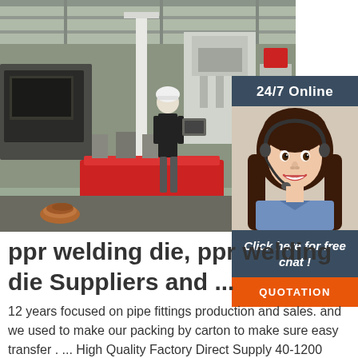[Figure (photo): Industrial factory interior showing a large red welding machine on rails with a worker in safety gear operating equipment. The facility has high ceilings and industrial machinery visible in the background.]
[Figure (photo): 24/7 Online customer service chat widget showing a smiling woman with dark hair wearing a headset and blue shirt, with a 'Click here for free chat!' message and orange QUOTATION button.]
ppr welding die, ppr welding die Suppliers and ...
12 years focused on pipe fittings production and sales. and we used to make our packing by carton to make sure easy transfer . ... High Quality Factory Direct Supply 40-1200 mm Ppr Welding